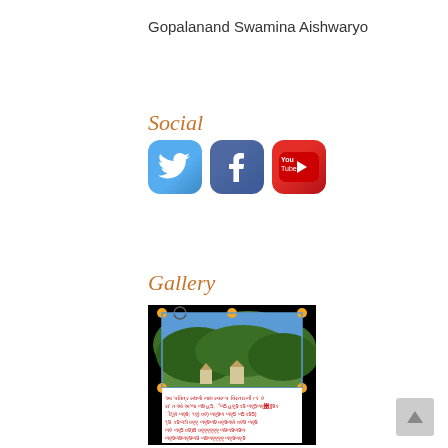Gopalanand Swamina Aishwaryo
Social
[Figure (illustration): Social media icons: Twitter, Facebook, YouTube]
Gallery
[Figure (photo): Gallery image showing a landscape with trees and hills, overlaid with Gujarati text in red/yellow on black background, with selection handles visible]